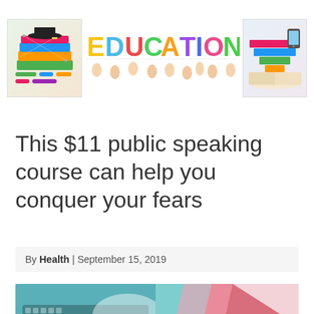[Figure (illustration): Left header image: colorful stack of books with graduation cap on top, with a mind-map or network diagram in the background]
[Figure (illustration): Center header image: colorful EDUCATION text with hands holding up each letter, rendered in rainbow colors]
[Figure (illustration): Right header image: colorful pyramid/infographic steps on an open book with a mobile device]
This $11 public speaking course can help you conquer your fears
By Health | September 15, 2019
[Figure (photo): Bottom banner photo: a teal/turquoise background with a keyboard in the left portion and colorful paper/folders on the right, appearing to be a workspace or school supplies scene]